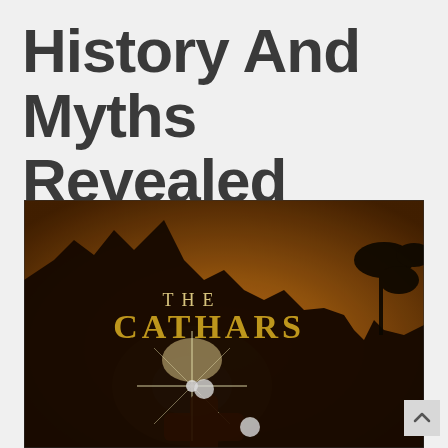History And Myths Revealed
[Figure (photo): Book cover for 'The Cathars' showing a dramatic silhouette of rocky ruins against a golden sunset sky, with a bright star-burst light effect and a cross-shaped puzzle piece in the foreground. Bold gold and white lettering reads 'THE CATHARS'.]